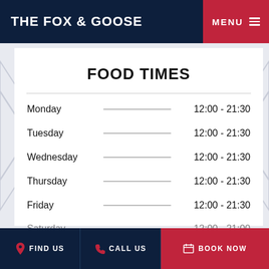THE FOX & GOOSE
FOOD TIMES
Monday  12:00 - 21:30
Tuesday  12:00 - 21:30
Wednesday  12:00 - 21:30
Thursday  12:00 - 21:30
Friday  12:00 - 21:30
Saturday  12:00 - 21:00
FIND US  CALL US  BOOK NOW